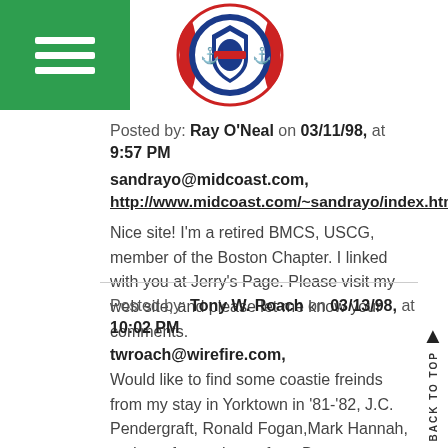[Figure (logo): US Coast Guard logo/seal — circular emblem with red and blue anchors, with a blue shield in the center, on a white background. Hamburger menu icon in green rectangle at top left.]
Posted by: Ray O'Neal on 03/11/98, at 9:57 PM
sandrayo@midcoast.com,
http://www.midcoast.com/~sandrayo/index.html
Nice site! I'm a retired BMCS, USCG, member of the Boston Chapter. I linked with you at Jerry's Page. Please visit my web site, and please let me know your comments.
Posted by: Tony W. Roach on 03/13/98, at 10:02 PM
twroach@wirefire.com,
Would like to find some coastie freinds from my stay in Yorktown in '81-'82, J.C. Pendergraft, Ronald Fogan,Mark Hannah, and any former boots from Bravo company in Cape May, NJ in '81.